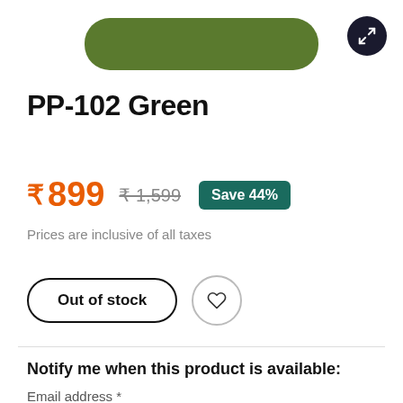[Figure (photo): Partial view of green product (PP-102 Green) shown at top of page with rounded rectangle shape, olive/dark green color. Expand/zoom button in top right corner.]
PP-102 Green
₹ 899  ₹1,599  Save 44%
Prices are inclusive of all taxes
Out of stock
Notify me when this product is available:
Email address *